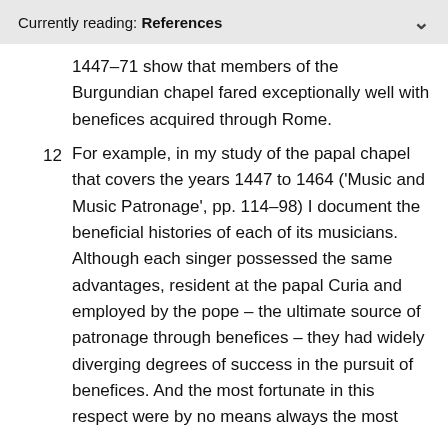Currently reading: References
1447–71 show that members of the Burgundian chapel fared exceptionally well with benefices acquired through Rome.
12  For example, in my study of the papal chapel that covers the years 1447 to 1464 ('Music and Music Patronage', pp. 114–98) I document the beneficial histories of each of its musicians. Although each singer possessed the same advantages, resident at the papal Curia and employed by the pope – the ultimate source of patronage through benefices – they had widely diverging degrees of success in the pursuit of benefices. And the most fortunate in this respect were by no means always the most